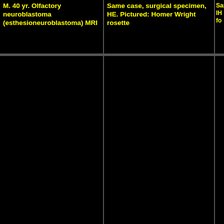M. 40 yr. Olfactory neuroblastoma (esthesioneuroblastoma) MRI
Same case, surgical specimen, HE. Pictured: Homer Wright rosette
Same, IH fo
[Figure (photo): Black image cell - microscopy/radiology image]
[Figure (photo): Black image cell - microscopy/radiology image]
[Figure (photo): Black image cell - partially visible]
Same, EM
M. 11 m. Retroperitonial neuroblastoma metastatic to skull
Same, surgi Pictured: H rosettes
[Figure (photo): Black image cell - microscopy image]
[Figure (photo): Black image cell - microscopy image]
[Figure (photo): Black image cell - partially visible]
M. 49 yr. Recurrent